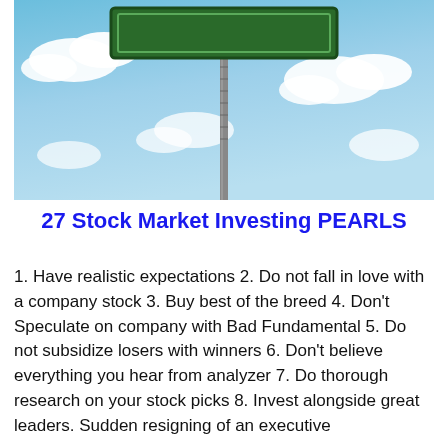[Figure (photo): Photo of a green road sign on a metal post against a blue sky with white clouds. The sign is a rectangular green board with a white border visible, mounted on a grey metallic post.]
27 Stock Market Investing PEARLS
1. Have realistic expectations 2. Do not fall in love with a company stock 3. Buy best of the breed 4. Don't Speculate on company with Bad Fundamental 5. Do not subsidize losers with winners 6. Don't believe everything you hear from analyzer 7. Do thorough research on your stock picks 8. Invest alongside great leaders. Sudden resigning of an executive